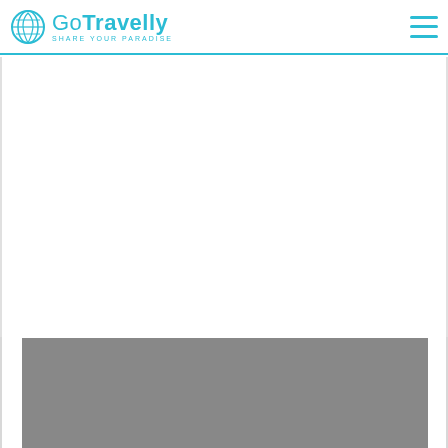[Figure (logo): GoTravelly logo with globe/teardrop icon and tagline 'SHARE YOUR PARADISE' in teal/cyan color]
[Figure (other): Hamburger menu icon (three horizontal lines) in teal/cyan on white background, top right of navbar]
[Figure (other): Teal square with white hamburger menu icon (three lines) on the left sidebar below navbar]
[Figure (photo): Gray placeholder image area at the bottom of the page]